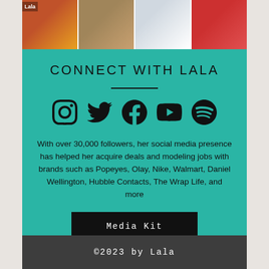[Figure (photo): Four photo strip at top showing food, person, skincare products, and beauty products]
CONNECT WITH LALA
[Figure (infographic): Five social media icons: Instagram, Twitter, Facebook, YouTube, Spotify]
With over 30,000 followers, her social media presence has helped her acquire deals and modeling jobs with brands such as Popeyes, Olay, Nike, Walmart, Daniel Wellington, Hubble Contacts, The Wrap Life, and more
Media Kit
©2023 by Lala